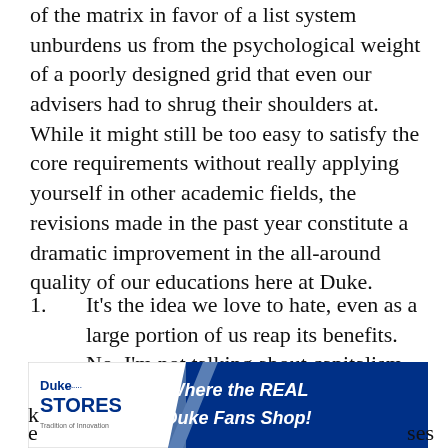of the matrix in favor of a list system unburdens us from the psychological weight of a poorly designed grid that even our advisers had to shrug their shoulders at. While it might still be too easy to satisfy the core requirements without really applying yourself in other academic fields, the revisions made in the past year constitute a dramatic improvement in the all-around quality of our educations here at Duke.
It's the idea we love to hate, even as a large portion of us reap its benefits. No, I'm not talking about capitalism—I'm referring to The iPod program, whose future continues to hang in the balance as officials assess its performance during the past year. Regardless of what happens, the initiative represents the k... e... ses
[Figure (other): Duke Stores advertisement banner: left side shows Duke Stores logo with 'Tradition of Innovation' tagline on white background with diagonal blue triangle; right side has dark blue background with italic bold white text reading 'Where the REAL Duke Fans Shop!']